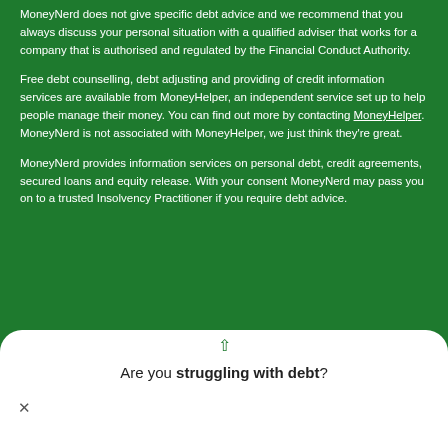MoneyNerd does not give specific debt advice and we recommend that you always discuss your personal situation with a qualified adviser that works for a company that is authorised and regulated by the Financial Conduct Authority.
Free debt counselling, debt adjusting and providing of credit information services are available from MoneyHelper, an independent service set up to help people manage their money. You can find out more by contacting MoneyHelper. MoneyNerd is not associated with MoneyHelper, we just think they're great.
MoneyNerd provides information services on personal debt, credit agreements, secured loans and equity release. With your consent MoneyNerd may pass you on to a trusted Insolvency Practitioner if you require debt advice.
Are you struggling with debt?